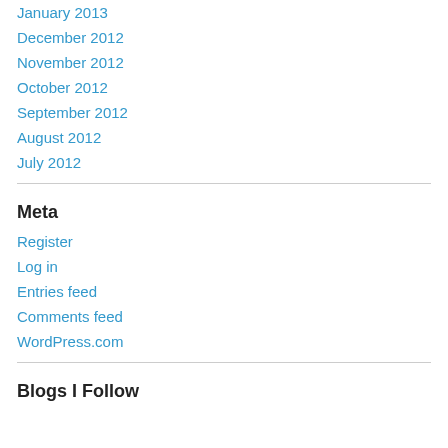January 2013
December 2012
November 2012
October 2012
September 2012
August 2012
July 2012
Meta
Register
Log in
Entries feed
Comments feed
WordPress.com
Blogs I Follow